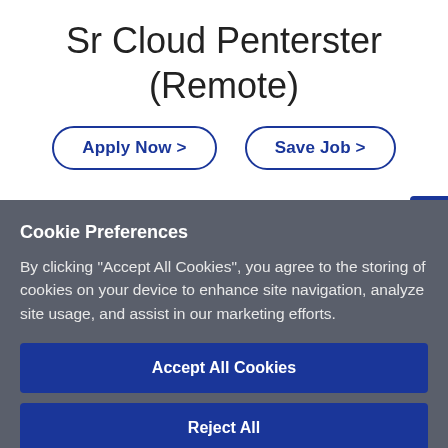Sr Cloud Penterster (Remote)
Apply Now >
Save Job >
Cookie Preferences
By clicking “Accept All Cookies”, you agree to the storing of cookies on your device to enhance site navigation, analyze site usage, and assist in our marketing efforts.
Accept All Cookies
Reject All
Cookies Settings